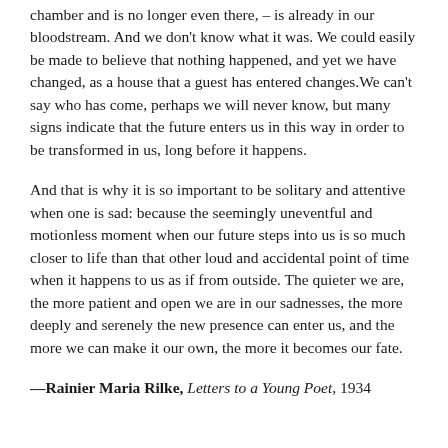chamber and is no longer even there, – is already in our bloodstream. And we don't know what it was. We could easily be made to believe that nothing happened, and yet we have changed, as a house that a guest has entered changes. We can't say who has come, perhaps we will never know, but many signs indicate that the future enters us in this way in order to be transformed in us, long before it happens.
And that is why it is so important to be solitary and attentive when one is sad: because the seemingly uneventful and motionless moment when our future steps into us is so much closer to life than that other loud and accidental point of time when it happens to us as if from outside. The quieter we are, the more patient and open we are in our sadnesses, the more deeply and serenely the new presence can enter us, and the more we can make it our own, the more it becomes our fate.
—Rainier Maria Rilke, Letters to a Young Poet, 1934